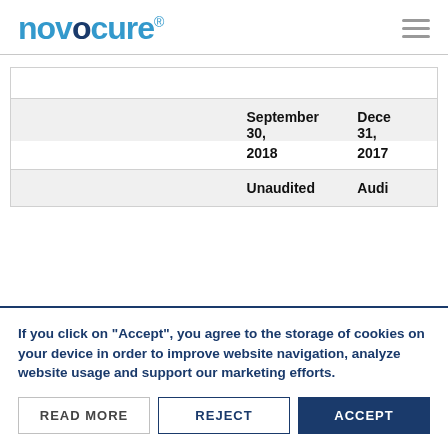novocure
|  | September 30, 2018 Unaudited | December 31, 2017 Audited |
| --- | --- | --- |
If you click on "Accept", you agree to the storage of cookies on your device in order to improve website navigation, analyze website usage and support our marketing efforts.